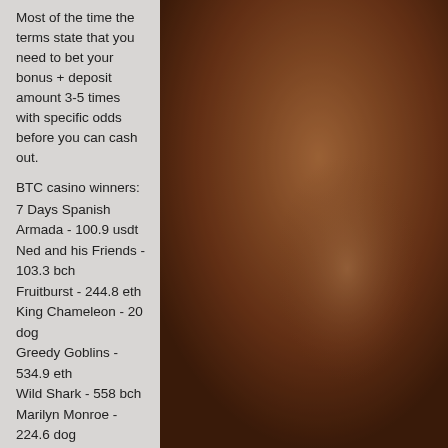Most of the time the terms state that you need to bet your bonus + deposit amount 3-5 times with specific odds before you can cash out.
BTC casino winners:
7 Days Spanish Armada - 100.9 usdt
Ned and his Friends - 103.3 bch
Fruitburst - 244.8 eth
King Chameleon - 20 dog
Greedy Goblins - 534.9 eth
Wild Shark - 558 bch
Marilyn Monroe - 224.6 dog
She's a Rich Girl - 546.2 dog
Exotic Fruit - 576.2 dog
Pablo Picasslot - 410.2 dog
7 Lucky Dwarfs - 438.8 usdt
Tribe - 78.1 dog
Secrets of Atlantis - 74.7 dog
Bangkok Nights - 170.9 eth
Booming Bananas - 310.1 eth
[Figure (photo): Close-up of dark skin, likely a person's torso or back, with a warm brown tone.]